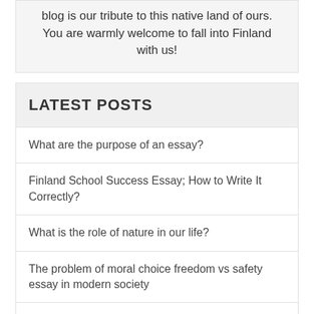blog is our tribute to this native land of ours. You are warmly welcome to fall into Finland with us!
LATEST POSTS
What are the purpose of an essay?
Finland School Success Essay; How to Write It Correctly?
What is the role of nature in our life?
The problem of moral choice freedom vs safety essay in modern society
Things you should know about Finland